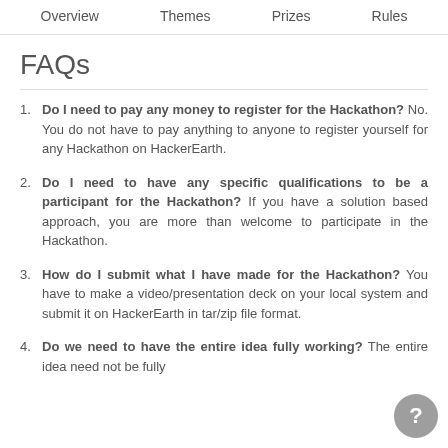Overview  Themes  Prizes  Rules
FAQs
Do I need to pay any money to register for the Hackathon? No. You do not have to pay anything to anyone to register yourself for any Hackathon on HackerEarth.
Do I need to have any specific qualifications to be a participant for the Hackathon? If you have a solution based approach, you are more than welcome to participate in the Hackathon.
How do I submit what I have made for the Hackathon? You have to make a video/presentation deck on your local system and submit it on HackerEarth in tar/zip file format.
Do we need to have the entire idea fully working? The entire idea need not be fully...